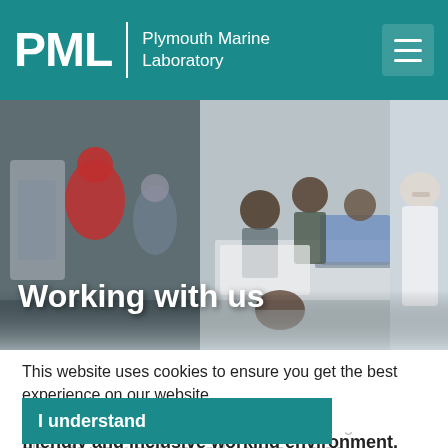PML | Plymouth Marine Laboratory
[Figure (photo): Hero image collage showing three panels: left panel with researchers in field gear working with equipment, center panel with group of people around a table with a laptop, right panel with a scientist in a white lab coat]
Working with us
This website uses cookies to ensure you get the best experience on our website.
Learn more
PML is a dynamic, exciting and rewarding place to work and we pride ourselves on offering high quality roles in a supportive, friendly and inclusive working environment.